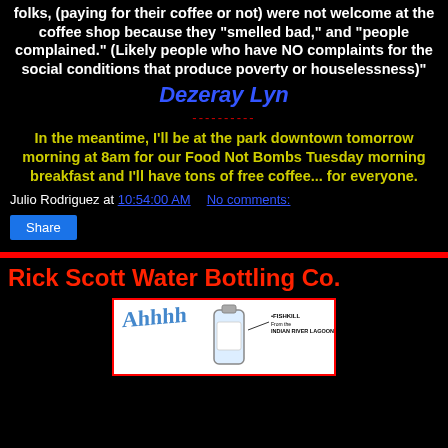folks, (paying for their coffee or not) were not welcome at the coffee shop because they "smelled bad," and "people complained." (Likely people who have NO complaints for the social conditions that produce poverty or houselessness)"
Dezeray Lyn
----------
In the meantime, I'll be at the park downtown tomorrow morning at 8am for our Food Not Bombs Tuesday morning breakfast and I'll have tons of free coffee... for everyone.
Julio Rodriguez at 10:54:00 AM    No comments:
Share
Rick Scott Water Bottling Co.
[Figure (illustration): Cartoon illustration of a water bottle labeled with text about Fishkill from the Indian River Lagoon, with stylized handwritten-style text on the left side]